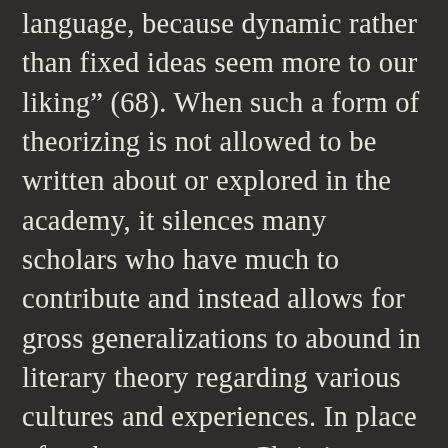language, because dynamic rather than fixed ideas seem more to our liking” (68). When such a form of theorizing is not allowed to be written about or explored in the academy, it silences many scholars who have much to contribute and instead allows for gross generalizations to abound in literary theory regarding various cultures and experiences. In place of such a structure, Christian suggests theorists should shift their focus “to the intricacies of the intersection of language, class, race, and gender in literature” that is inclusive of many different ways of reading literature, including literature currently published and literature from different cultures.